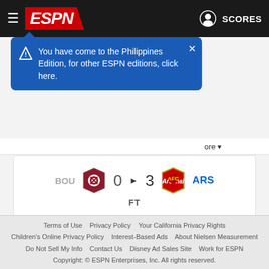[Figure (screenshot): ESPN navigation header with hamburger menu, ESPN logo, user icon, and SCORES button on dark background]
You have come to the Philippines Edition, for other ESPN editions, click here.
[Figure (infographic): Football match score: BOU 0 vs ARS 3, FT (Full Time)]
Martin Odegaard scored a brace and Gabriel Jesus shone once again as Arsenal continued their perfect start to the season with a comprehensive 3-0 win against Bournemouth.
Mikel Arteta's side put on a show for their travelling supporters as they recorded their third consecutive victory to go top of the
Terms of Use   Privacy Policy   Your California Privacy Rights   Children's Online Privacy Policy   Interest-Based Ads   About Nielsen Measurement   Do Not Sell My Info   Contact Us   Disney Ad Sales Site   Work for ESPN   Copyright: © ESPN Enterprises, Inc. All rights reserved.